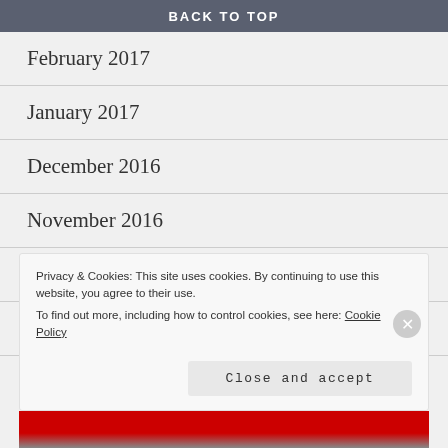BACK TO TOP
February 2017
January 2017
December 2016
November 2016
October 2016
September 2016
Privacy & Cookies: This site uses cookies. By continuing to use this website, you agree to their use.
To find out more, including how to control cookies, see here: Cookie Policy
Close and accept